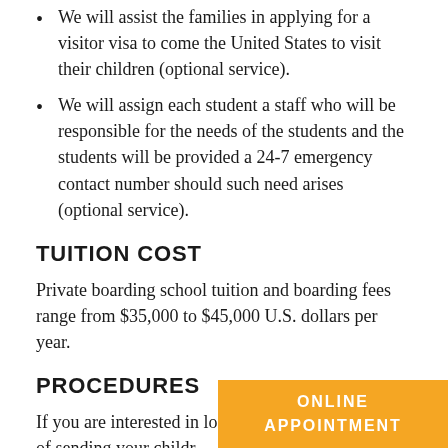We will assist the families in applying for a visitor visa to come the United States to visit their children (optional service).
We will assign each student a staff who will be responsible for the needs of the students and the students will be provided a 24-7 emergency contact number should such need arises (optional service).
TUITION COST
Private boarding school tuition and boarding fees range from $35,000 to $45,000 U.S. dollars per year.
PROCEDURES
If you are interested in looking into the possibility of sending your childr